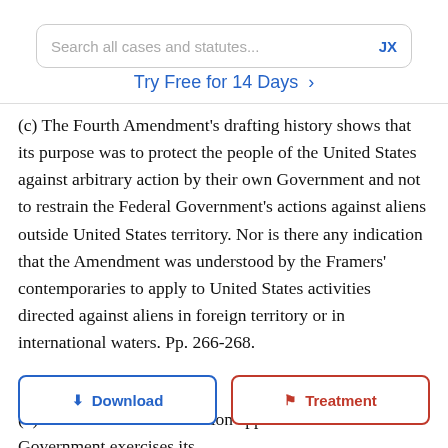Search all cases and statutes...    JX
Try Free for 14 Days >
(c) The Fourth Amendment’s drafting history shows that its purpose was to protect the people of the United States against arbitrary action by their own Government and not to restrain the Federal Government’s actions against aliens outside United States territory. Nor is there any indication that the Amendment was understood by the Framers’ contemporaries to apply to United States activities directed against aliens in foreign territory or in international waters. Pp. 266-268.
[Figure (screenshot): Download and Treatment buttons overlaid on legal text]
(d) T... c... ision applies wherever the Government exercises its